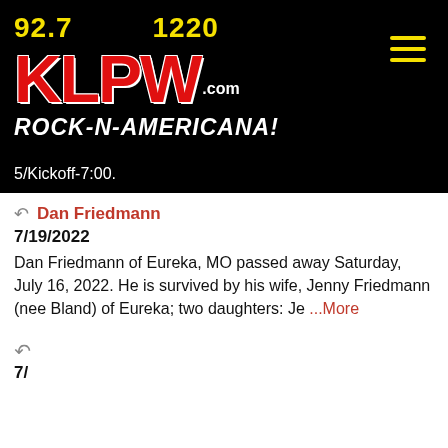[Figure (logo): KLPW radio station logo with frequencies 92.7 and 1220, red KLPW text with .com, tagline ROCK-N-AMERICANA! on black background]
5/Kickoff-7:00.
Dan Friedmann
7/19/2022
Dan Friedmann of Eureka, MO passed away Saturday, July 16, 2022. He is survived by his wife, Jenny Friedmann (nee Bland) of Eureka; two daughters: Je ...More